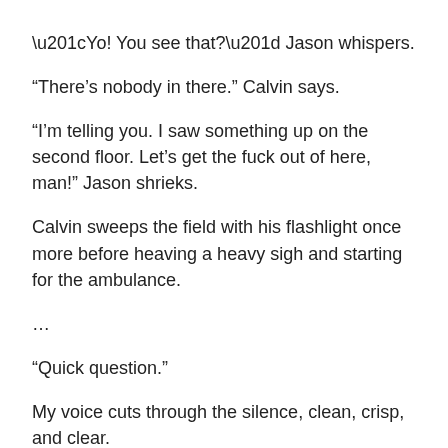“Yo! You see that?” Jason whispers.
“There’s nobody in there.” Calvin says.
“I’m telling you. I saw something up on the second floor. Let’s get the fuck out of here, man!” Jason shrieks.
Calvin sweeps the field with his flashlight once more before heaving a heavy sigh and starting for the ambulance.
…
“Quick question.”
My voice cuts through the silence, clean, crisp, and clear.
They’re dropping f-bombs as they fumble with their flashlights. They cast their lights on the slave quarters and